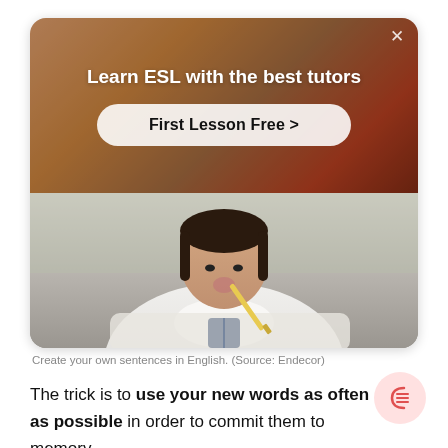[Figure (photo): Advertisement card showing an ESL tutoring service. Top half shows a warm-toned classroom photo with a teacher figure. Bottom half shows a young girl in school uniform chewing on a pencil while studying. A white 'First Lesson Free >' button overlays the center. An X close button appears top right.]
Create your own sentences in English. (Source: Endecor)
The trick is to use your new words as often as possible in order to commit them to memory.